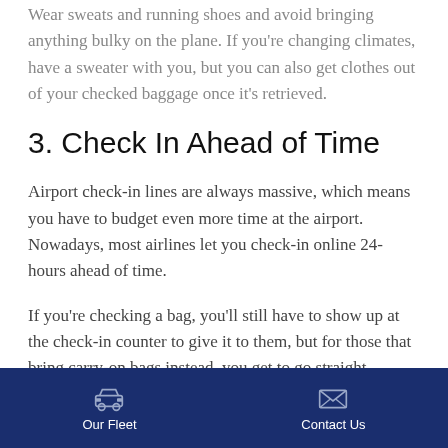Wear sweats and running shoes and avoid bringing anything bulky on the plane. If you're changing climates, have a sweater with you, but you can also get clothes out of your checked baggage once it's retrieved.
3. Check In Ahead of Time
Airport check-in lines are always massive, which means you have to budget even more time at the airport. Nowadays, most airlines let you check-in online 24-hours ahead of time.
If you're checking a bag, you'll still have to show up at the check-in counter to give it to them, but for those that bring carry-on bags instead, you get to go straight
Our Fleet    Contact Us